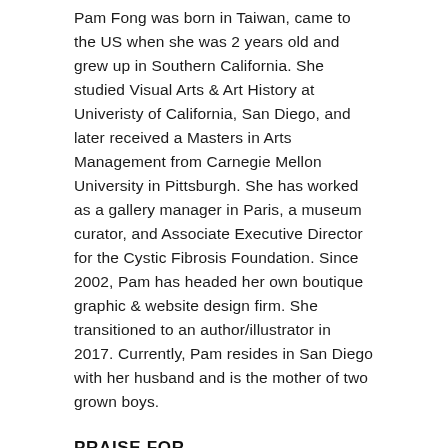Pam Fong was born in Taiwan, came to the US when she was 2 years old and grew up in Southern California. She studied Visual Arts & Art History at Univeristy of California, San Diego, and later received a Masters in Arts Management from Carnegie Mellon University in Pittsburgh. She has worked as a gallery manager in Paris, a museum curator, and Associate Executive Director for the Cystic Fibrosis Foundation. Since 2002, Pam has headed her own boutique graphic & website design firm. She transitioned to an author/illustrator in 2017. Currently, Pam resides in San Diego with her husband and is the mother of two grown boys.
PRAISE FOR...
★ "A timely tale that quietly affirms the intrinsic value of nature." —Booklist, starred review